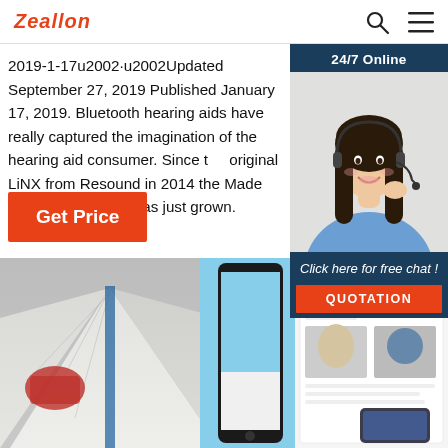Zeallon
2019-1-17u2002·u2002Updated September 27, 2019 Published January 17, 2019. Bluetooth hearing aids have really captured the imagination of the hearing aid consumer. Since the original LiNX from Resound in 2014 the Made For aid segment has just grown.
Get Price
[Figure (screenshot): 24/7 Online chat widget with woman wearing headset, 'Click here for free chat!' text and QUOTATION button]
[Figure (photo): Bottom strip showing open magazine, smartphone, and news website screenshot]